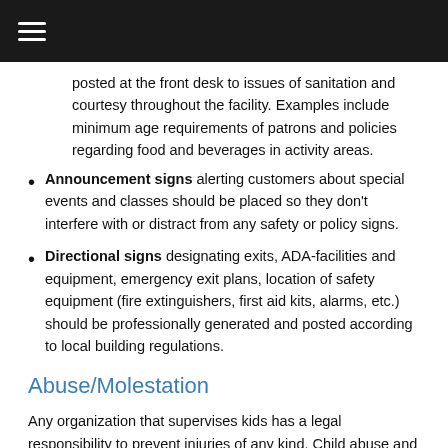≡ (hamburger menu)
posted at the front desk to issues of sanitation and courtesy throughout the facility. Examples include minimum age requirements of patrons and policies regarding food and beverages in activity areas.
Announcement signs alerting customers about special events and classes should be placed so they don't interfere with or distract from any safety or policy signs.
Directional signs designating exits, ADA-facilities and equipment, emergency exit plans, location of safety equipment (fire extinguishers, first aid kits, alarms, etc.) should be professionally generated and posted according to local building regulations.
Abuse/Molestation
Any organization that supervises kids has a legal responsibility to prevent injuries of any kind. Child abuse and molestation, unfortunately, can take place anywhere, and any program where adults supervise children is fertile ground for predators. There is no foolproof method to prevent sexual abuse and molestation